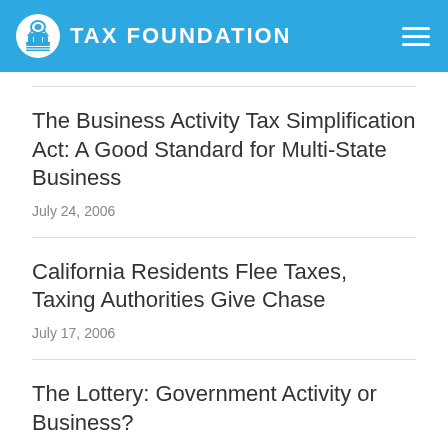TAX FOUNDATION
The Business Activity Tax Simplification Act: A Good Standard for Multi-State Business
July 24, 2006
California Residents Flee Taxes, Taxing Authorities Give Chase
July 17, 2006
The Lottery: Government Activity or Business?